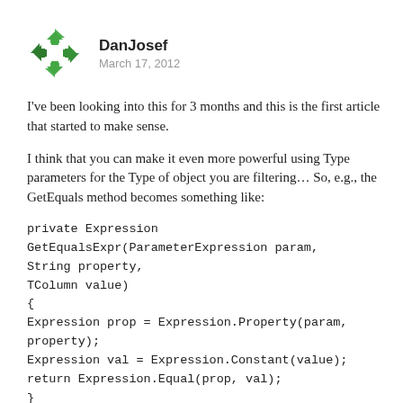[Figure (logo): Stack Overflow / user avatar: green circular arrow icon]
DanJosef
March 17, 2012
I've been looking into this for 3 months and this is the first article that started to make sense.
I think that you can make it even more powerful using Type parameters for the Type of object you are filtering… So, e.g., the GetEquals method becomes something like: